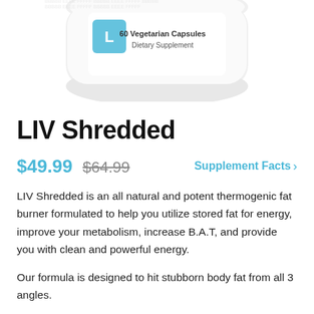[Figure (photo): Partial product bottle of LIV Shredded supplement, 60 Vegetarian Capsules, Dietary Supplement, shown from the top portion]
LIV Shredded
$49.99 $64.99   Supplement Facts >
LIV Shredded is an all natural and potent thermogenic fat burner formulated to help you utilize stored fat for energy, improve your metabolism, increase B.A.T, and provide you with clean and powerful energy.
Our formula is designed to hit stubborn body fat from all 3 angles.